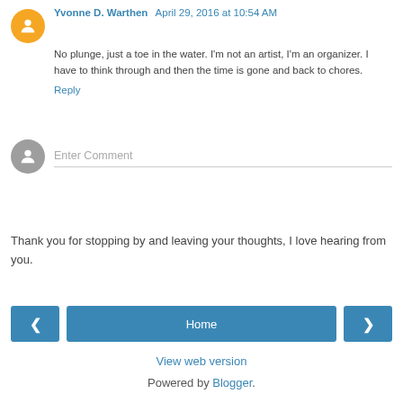Yvonne D. Warthen April 29, 2016 at 10:54 AM
No plunge, just a toe in the water. I'm not an artist, I'm an organizer. I have to think through and then the time is gone and back to chores.
Reply
Enter Comment
Thank you for stopping by and leaving your thoughts, I love hearing from you.
Home
View web version
Powered by Blogger.